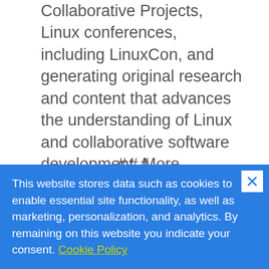Collaborative Projects, Linux conferences, including LinuxCon, and generating original research and content that advances the understanding of Linux and collaborative software development. More information can be found at www.linuxfoundation.org.
###
Trademarks: The Linux Foundation,
This website stores data such as cookies to enable essential site functionality, as well as marketing, personalization, and analytics. By remaining on this website you indicate your consent. Cookie Policy